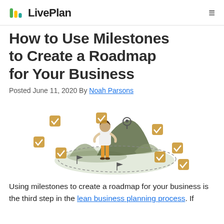LivePlan
How to Use Milestones to Create a Roadmap for Your Business
Posted June 11, 2020 By Noah Parsons
[Figure (illustration): Illustration of a person standing and looking at a mountain with a location pin on it, surrounded by checkbox icons arranged in a circular dashed path. Small flag markers are visible on the path.]
Using milestones to create a roadmap for your business is the third step in the lean business planning process. If